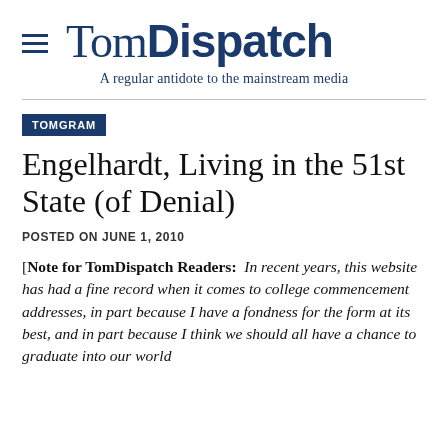TomDispatch
A regular antidote to the mainstream media
TOMGRAM
Engelhardt, Living in the 51st State (of Denial)
POSTED ON JUNE 1, 2010
[Note for TomDispatch Readers: In recent years, this website has had a fine record when it comes to college commencement addresses, in part because I have a fondness for the form at its best, and in part because I think we should all have a chance to graduate into our world